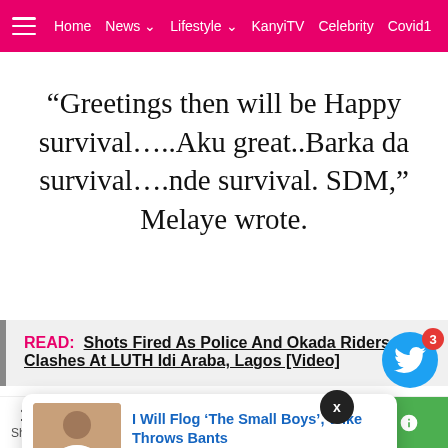Home  News  Lifestyle  KanyiTV  Celebrity  Covid19
“Greetings then will be Happy survival…..Aku great..Barka da survival….nde survival. SDM,” Melaye wrote.
READ:  Shots Fired As Police And Okada Riders Clashes At LUTH Idi Araba, Lagos [Video]
[Figure (screenshot): Popup card with thumbnail photo of a man and text: I Will Flog ‘The Small Boys’, Wike Throws Bants. 8 hours ago]
10 Shares | Facebook | Twitter | WhatsApp | Messenger | Green button